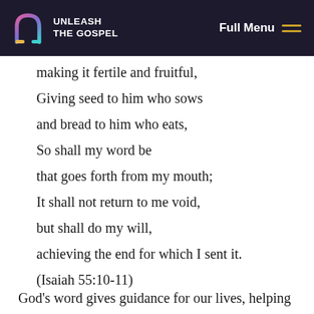UNLEASH THE GOSPEL | Full Menu
making it fertile and fruitful,
Giving seed to him who sows
and bread to him who eats,
So shall my word be
that goes forth from my mouth;
It shall not return to me void,
but shall do my will,
achieving the end for which I sent it.
(Isaiah 55:10-11)
God's word gives guidance for our lives, helping